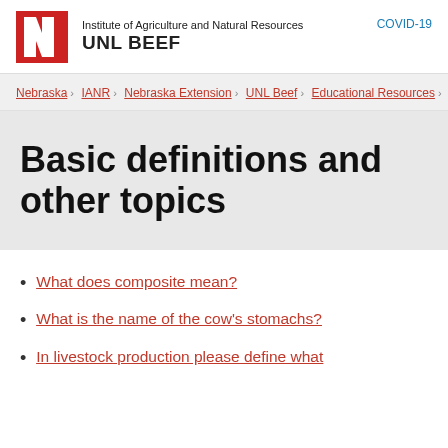COVID-19
[Figure (logo): University of Nebraska red N logo with Institute of Agriculture and Natural Resources UNL BEEF branding]
Nebraska > IANR > Nebraska Extension > UNL Beef > Educational Resources >
Basic definitions and other topics
What does composite mean?
What is the name of the cow's stomachs?
In livestock production please define what